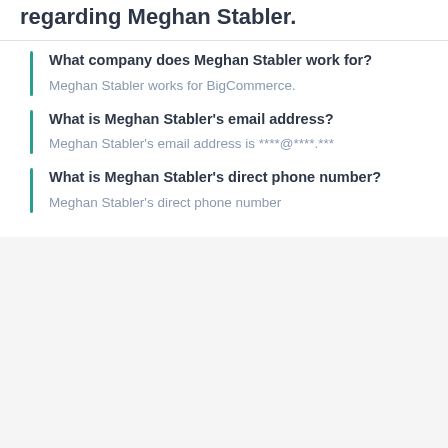regarding Meghan Stabler.
What company does Meghan Stabler work for?
Meghan Stabler works for BigCommerce.
What is Meghan Stabler's email address?
Meghan Stabler's email address is ****@****.***
What is Meghan Stabler's direct phone number?
Meghan Stabler's direct phone number